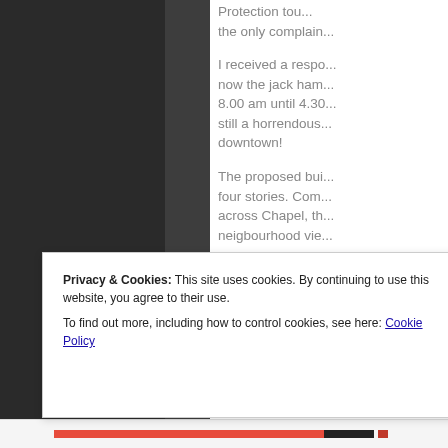Protection tou... the only complain...
I received a respo... now the jack ham... 8.00 am until 4.30... still a horrendous... downtown!
The proposed bui... four stories. Com... across Chapel, th... neigbourhood vie...
So why dig into im... did not!
Rock jamming exc... be unnecessary if... zar... in... na...
Privacy & Cookies: This site uses cookies. By continuing to use this website, you agree to their use.
To find out more, including how to control cookies, see here: Cookie Policy